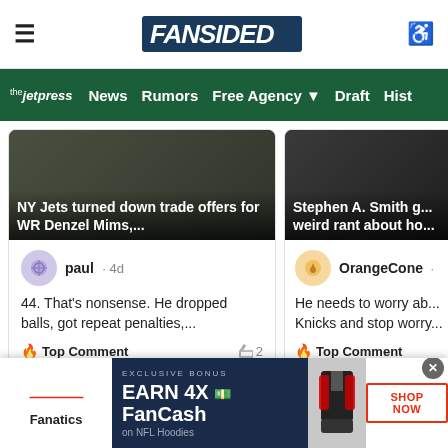FanSided — hamburger menu, logo, accessibility icon
thejetpress | News | Rumors | Free Agency ▾ | Draft | Hist
NY Jets turned down trade offers for WR Denzel Mims,...
paul · 4d
44. That's nonsense. He dropped balls, got repeat penalties,...
🔥 Top Comment  👍 2
Stephen A. Smith g... weird rant about ho...
OrangeCone · ...
He needs to worry ab... Knicks and stop worry...
🔥 Top Comment
[Figure (screenshot): Fanatics advertisement banner: EXCLUSIVE BONUS EARN 4X FanCash on NFL Hoodies — SHOP NOW]